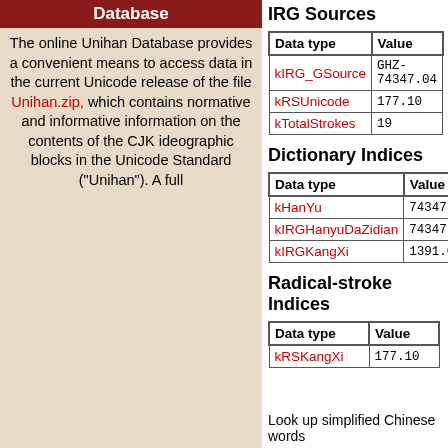Database
The online Unihan Database provides a convenient means to access data in the current Unicode release of the file Unihan.zip, which contains normative and informative information on the contents of the CJK ideographic blocks in the Unicode Standard ("Unihan"). A full
IRG Sources
| Data type | Value |
| --- | --- |
| kIRG_GSource | GHZ-74347.04 |
| kRSUnicode | 177.10 |
| kTotalStrokes | 19 |
Dictionary Indices
| Data type | Value |
| --- | --- |
| kHanYu | 74347.040 |
| kIRGHanyuDaZidian | 74347.040 |
| kIRGKangXi | 1391.071 |
Radical-stroke Indices
| Data type | Value |
| --- | --- |
| kRSKangXi | 177.10 |
Look up simplified Chinese words